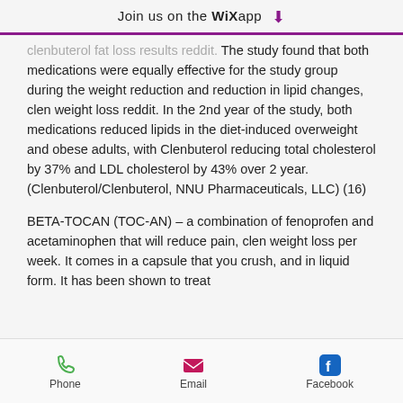Join us on the WiX app ⬇
clenbuterol fat loss results reddit. The study found that both medications were equally effective for the study group during the weight reduction and reduction in lipid changes, clen weight loss reddit. In the 2nd year of the study, both medications reduced lipids in the diet-induced overweight and obese adults, with Clenbuterol reducing total cholesterol by 37% and LDL cholesterol by 43% over 2 year. (Clenbuterol/Clenbuterol, NNU Pharmaceuticals, LLC) (16)
BETA-TOCAN (TOC-AN) – a combination of fenoprofen and acetaminophen that will reduce pain, clen weight loss per week. It comes in a capsule that you crush, and in liquid form. It has been shown to treat
Phone  Email  Facebook